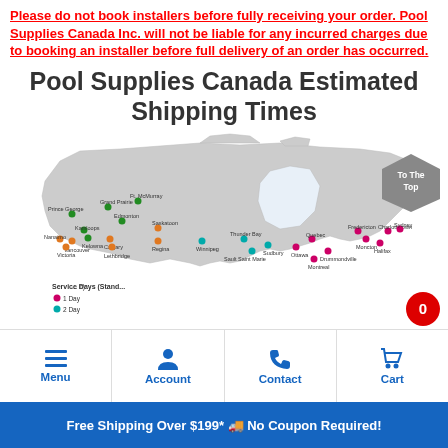Please do not book installers before fully receiving your order. Pool Supplies Canada Inc. will not be liable for any incurred charges due to booking an installer before full delivery of an order has occurred.
Pool Supplies Canada Estimated Shipping Times
[Figure (map): Map of Canada showing estimated shipping times in service days from Pool Supplies Canada, with colored dots marking cities. Pink/magenta dots = 1 Day service, teal/cyan dots = 2 Day service, orange dots = other locations. Cities marked include Prince George, Grand Prairie, Ft. McMurray, Edmonton, Nanaimo, Victoria, Vancouver, Kamloops, Kelowna, Calgary, Lethbridge, Saskatoon, Regina, Winnipeg, Thunder Bay, Sault Saint Marie, Sudbury, Ottawa, Quebec, Fredericton, Moncton, Charlottetown, Halifax, Sydney, Drummondville, Montreal.]
Free Shipping Over $199* 🚚 No Coupon Required!